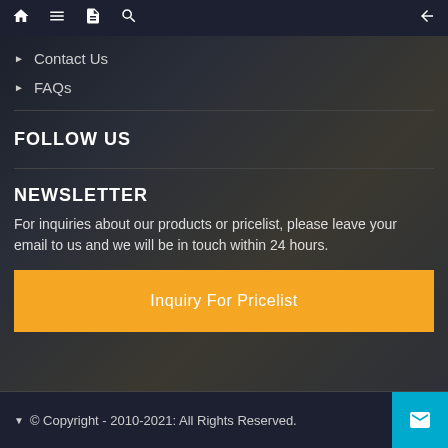Navigation bar with home, menu, document, search icons and back arrow
Contact Us
FAQs
FOLLOW US
NEWSLETTER
For inquiries about our products or pricelist, please leave your email to us and we will be in touch within 24 hours.
Inquiry For Pricelist
© Copyright - 2010-2021: All Rights Reserved.